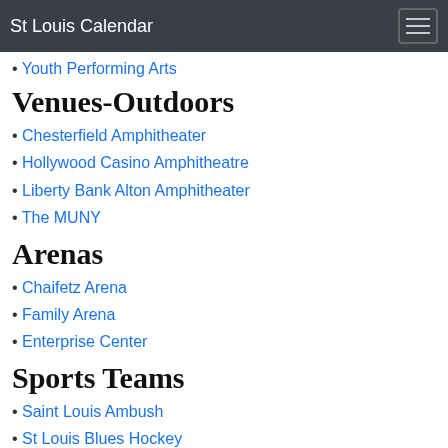St Louis Calendar
Youth Performing Arts
Venues-Outdoors
Chesterfield Amphitheater
Hollywood Casino Amphitheatre
Liberty Bank Alton Amphitheater
The MUNY
Arenas
Chaifetz Arena
Family Arena
Enterprise Center
Sports Teams
Saint Louis Ambush
St Louis Blues Hockey
Saint Louis University Billikens